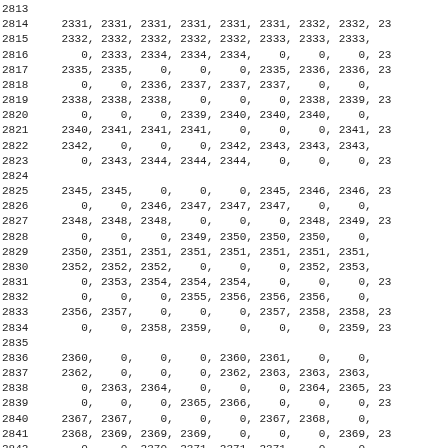Numerical data listing with row indices 2813-2845 and comma-separated values per row